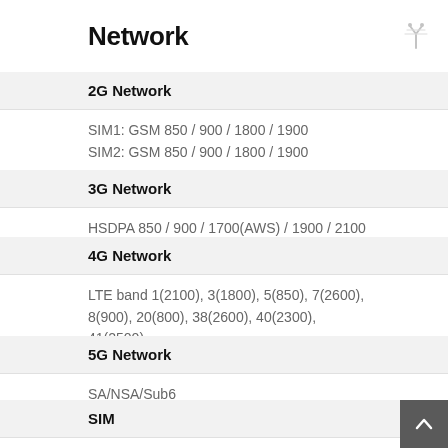Network
2G Network
SIM1: GSM 850 / 900 / 1800 / 1900
SIM2: GSM 850 / 900 / 1800 / 1900
3G Network
HSDPA 850 / 900 / 1700(AWS) / 1900 / 2100
4G Network
LTE band 1(2100), 3(1800), 5(850), 7(2600), 8(900), 20(800), 38(2600), 40(2300), 41(2500)
5G Network
SA/NSA/Sub6
SIM
Nano SIM